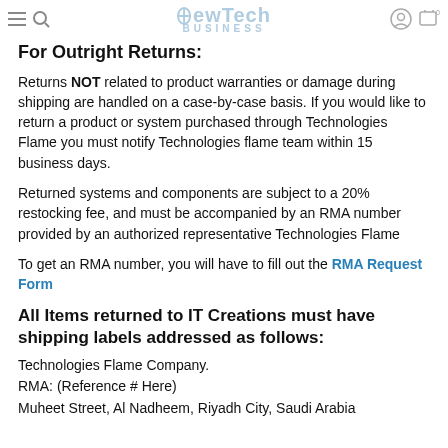NewTech Business
For Outright Returns:
Returns NOT related to product warranties or damage during shipping are handled on a case-by-case basis. If you would like to return a product or system purchased through Technologies Flame you must notify Technologies flame team within 15 business days.
Returned systems and components are subject to a 20% restocking fee, and must be accompanied by an RMA number provided by an authorized representative Technologies Flame
To get an RMA number, you will have to fill out the RMA Request Form
All Items returned to IT Creations must have shipping labels addressed as follows:
Technologies Flame Company.
RMA: (Reference # Here)
Muheet Street, Al Nadheem, Riyadh City, Saudi Arabia